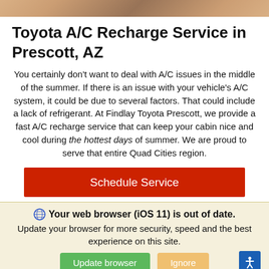[Figure (photo): Photo strip at top of page showing a person, cropped to a thin horizontal band]
Toyota A/C Recharge Service in Prescott, AZ
You certainly don't want to deal with A/C issues in the middle of the summer. If there is an issue with your vehicle's A/C system, it could be due to several factors. That could include a lack of refrigerant. At Findlay Toyota Prescott, we provide a fast A/C recharge service that can keep your cabin nice and cool during the hottest days of summer. We are proud to serve that entire Quad Cities region.
Schedule Service
Your web browser (iOS 11) is out of date. Update your browser for more security, speed and the best experience on this site.
Update browser  Ignore